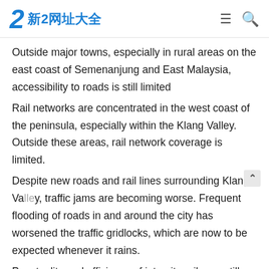新2网址大全
Outside major towns, especially in rural areas on the east coast of Semenanjung and East Malaysia, accessibility to roads is still limited
Rail networks are concentrated in the west coast of the peninsula, especially within the Klang Valley. Outside these areas, rail network coverage is limited.
Despite new roads and rail lines surrounding Klang Valley, traffic jams are becoming worse. Frequent flooding of roads in and around the city has worsened the traffic gridlocks, which are now to be expected whenever it rains.
Punctuality and efficiency of intracity rails are still a work in progress. The less said about the buses and taxis, the better.